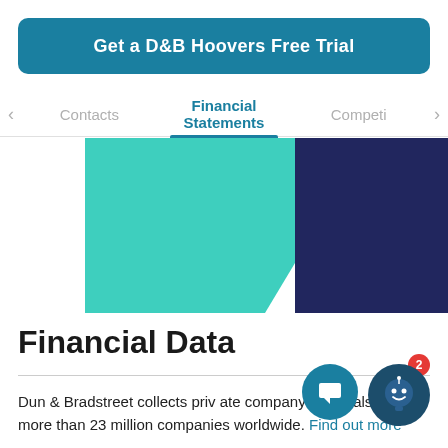Get a D&B Hoovers Free Trial
Financial Statements
[Figure (illustration): A decorative bar chart graphic with teal/green and dark navy blue bars, partially cropped, used as a visual background element for the financial section.]
Financial Data
Dun & Bradstreet collects private company financials for more than 23 million companies worldwide. Find out more